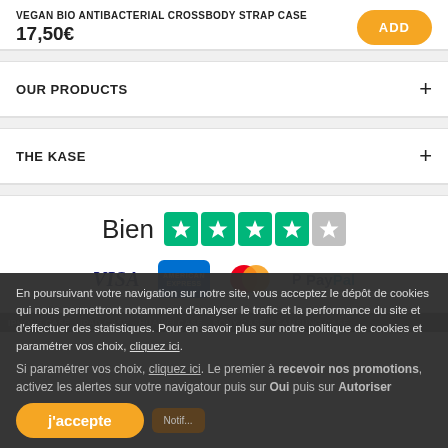VEGAN BIO ANTIBACTERIAL CROSSBODY STRAP CASE
17,50€
ADD
OUR PRODUCTS
THE KASE
[Figure (other): Trustpilot rating showing 'Bien' with 4 green stars and 1 gray star, plus payment logos: VISA, American Express, Mastercard, PayPal]
IPHONE CASE   IPAD CASE   HUAWEI CASE   SONY CASE   SAMSUNG CASE
En poursuivant votre navigation sur notre site, vous acceptez le dépôt de cookies qui nous permettront notamment d'analyser le trafic et la performance du site et d'effectuer des statistiques. Pour en savoir plus sur notre politique de cookies et paramétrer vos choix, cliquez ici.
Si paramétrer vos choix, cliquez ici. Le premier à recevoir nos promotions, activez les alertes sur votre navigateur puis sur Oui puis sur Autoriser
j'accepte